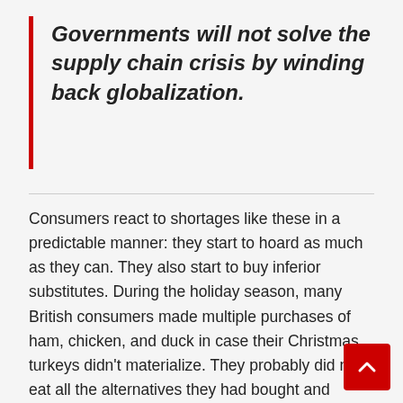Governments will not solve the supply chain crisis by winding back globalization.
Consumers react to shortages like these in a predictable manner: they start to hoard as much as they can. They also start to buy inferior substitutes. During the holiday season, many British consumers made multiple purchases of ham, chicken, and duck in case their Christmas turkeys didn’t materialize. They probably did not eat all the alternatives they had bought and stored away. Tremendous waste occurs as a result. Hoarding is a beggar-thy-neighbor approach to dealing with crises: hoarders may not live better but others will